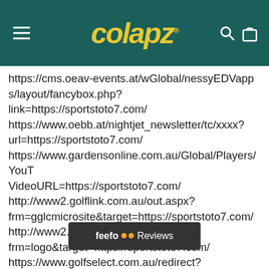colapz
https://cms.oeav-events.at/wGlobal/nessyEDVapps/layout/fancybox.php?link=https://sportstoto7.com/ https://www.oebb.at/nightjet_newsletter/tc/xxxx?url=https://sportstoto7.com/ https://www.gardensonline.com.au/Global/Players/YouTube.aspx?VideoURL=https://sportstoto7.com/ http://www2.golflink.com.au/out.aspx?frm=gglcmicrosite&target=https://sportstoto7.com/ http://www2.golflink.com.au/out.aspx?frm=logo&target=https://sportstoto7.com/ https://www.golfselect.com.au/redirect?activityType_co... LINK&course_... sportstoto7.com/